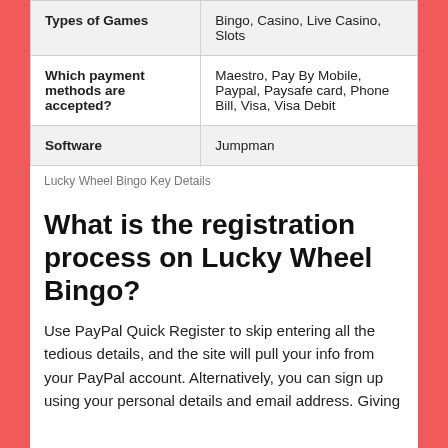|  |  |
| --- | --- |
| Types of Games | Bingo, Casino, Live Casino, Slots |
| Which payment methods are accepted? | Maestro, Pay By Mobile, Paypal, Paysafe card, Phone Bill, Visa, Visa Debit |
| Software | Jumpman |
Lucky Wheel Bingo Key Details
What is the registration process on Lucky Wheel Bingo?
Use PayPal Quick Register to skip entering all the tedious details, and the site will pull your info from your PayPal account. Alternatively, you can sign up using your personal details and email address. Giving